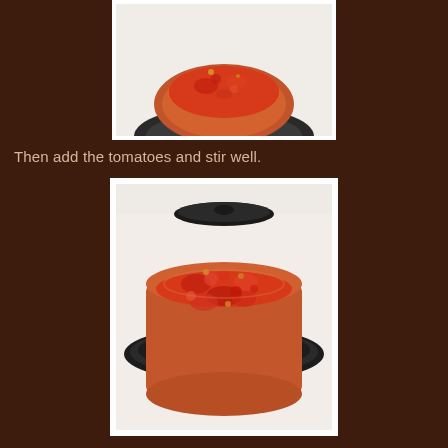[Figure (photo): Partial top view of a terracotta clay bowl on a black electric stove burner, containing tomato-based sauce mixture. Only the bottom portion of the photo is visible (cropped at top).]
Then add the tomatoes and stir well.
[Figure (photo): A terracotta clay bowl sitting on a black electric stove burner ring on a white stovetop. The bowl contains a chunky tomato-based sauce with visible pieces of tomatoes and other ingredients, appearing red and orange in color. The lid of the clay pot is visible in the background on the stove.]